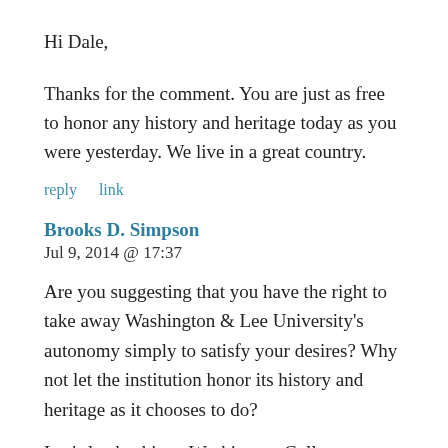Hi Dale,
Thanks for the comment. You are just as free to honor any history and heritage today as you were yesterday. We live in a great country.
reply    link
Brooks D. Simpson
Jul 9, 2014 @ 17:37
Are you suggesting that you have the right to take away Washington & Lee University's autonomy simply to satisfy your desires? Why not let the institution honor its history and heritage as it chooses to do?
Lee's leadership at Washington College came after the